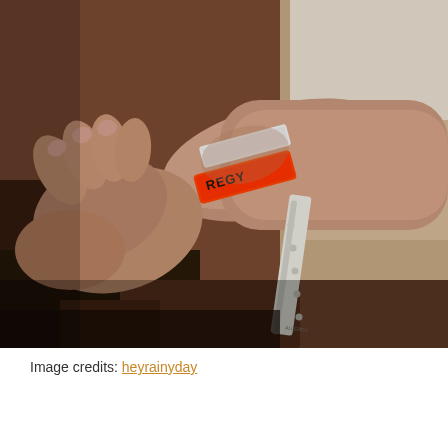[Figure (photo): Close-up photograph of a person's wrist/forearm being held by another hand. The patient's arm has two hospital identification wristbands: one orange/red allergy band with 'REGY' text visible and one white standard hospital band. The tail of the white band hangs down with punch holes visible. The background shows what appears to be a hospital or clinical setting with warm brown tones.]
Image credits: heyrainyday